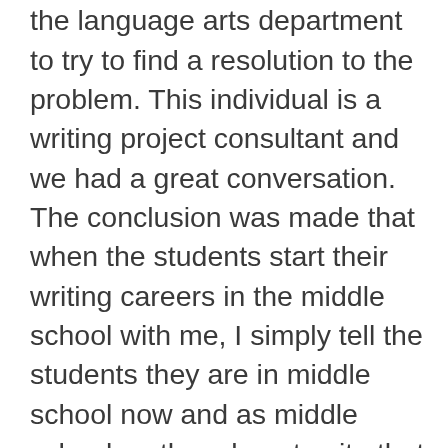with the one of the co-chairs of the language arts department to try to find a resolution to the problem. This individual is a writing project consultant and we had a great conversation. The conclusion was made that when the students start their writing careers in the middle school with me, I simply tell the students they are in middle school now and as middle schoolers they do not write that way anymore.  This would eliminate “attacking” any teacher or teachers in the elementary building. Well, I will admit, I was fine